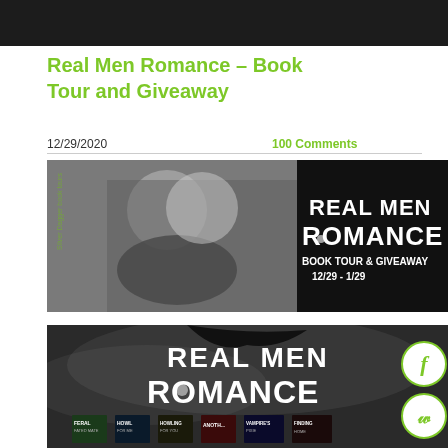Real Men Romance – Book Tour and Giveaway
12/29/2020
100 Comments
[Figure (photo): Book tour banner for Real Men Romance showing a shirtless man with a wolf under moonlight. Text reads: REAL MEN ROMANCE BOOK TOUR & GIVEAWAY 12/29 - 1/29. Silver Dagger Book Tours logo visible.]
[Figure (photo): Real Men Romance anthology book cover image showing the title REAL MEN ROMANCE in large white text with a paw print, and multiple book covers displayed at the bottom including Feral Fated Mate, Howl For Me, Howling For You, and others.]